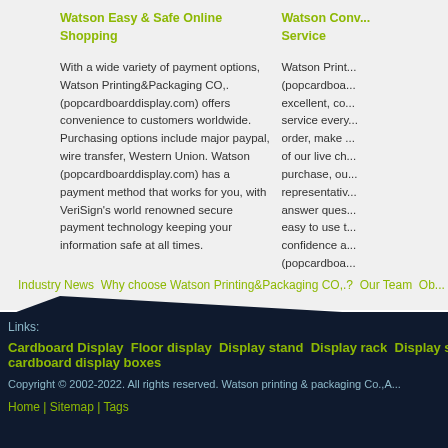Watson Easy & Safe Online Shopping
With a wide variety of payment options, Watson Printing&Packaging CO,. (popcardboarddisplay.com) offers convenience to customers worldwide. Purchasing options include major paypal, wire transfer, Western Union. Watson (popcardboarddisplay.com) has a payment method that works for you, with VeriSign's world renowned secure payment technology keeping your information safe at all times.
Watson Conv... Service
Watson Print... (popcardboa... excellent, co... service every... order, make ... of our live ch... purchase, ou... representativ... answer ques... easy to use t... confidence a... (popcardboa...
Industry News Why choose Watson Printing&Packaging CO,.? Our Team Ob...
Links:
Cardboard Display  Floor display  Display stand  Display rack  Display stands  D... cardboard display boxes
Copyright © 2002-2022. All rights reserved. Watson printing & packaging Co.,A...
Home | Sitemap | Tags